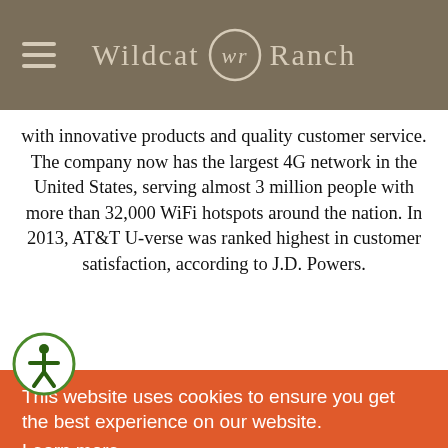Wildcat Ranch
with innovative products and quality customer service. The company now has the largest 4G network in the United States, serving almost 3 million people with more than 32,000 WiFi hotspots around the nation. In 2013, AT&T U-verse was ranked highest in customer satisfaction, according to J.D. Powers.
[Figure (other): Orange cookie consent banner overlay with text: 'This website uses cookies to ensure you get the best experience on our website. Learn more' and a yellow 'Got it!' button]
nautics, nd fire ace ies in ne 500 list of largest industrial corporations. The Fort